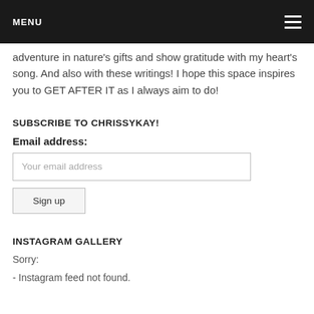MENU
adventure in nature's gifts and show gratitude with my heart's song. And also with these writings! I hope this space inspires you to GET AFTER IT as I always aim to do!
SUBSCRIBE TO CHRISSYKAY!
Email address:
Your email address
Sign up
INSTAGRAM GALLERY
Sorry:
- Instagram feed not found.